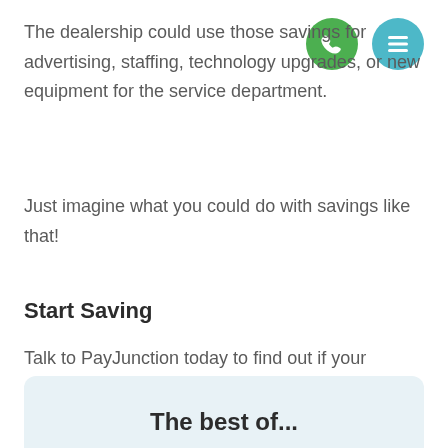The dealership could use those savings for advertising, staffing, technology upgrades, or new equipment for the service department.
Just imagine what you could do with savings like that!
Start Saving
Talk to PayJunction today to find out if your software provider has integrated to our gateway to support Level 2 and Level 3 credit card processing.
The best of...